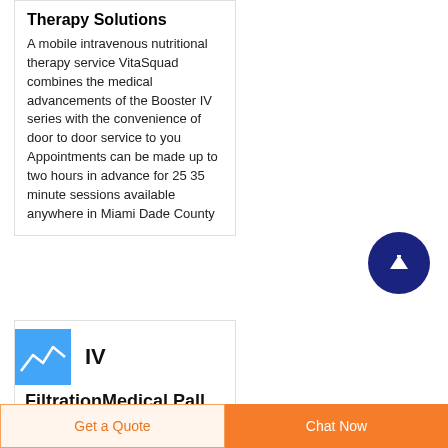Therapy Solutions
A mobile intravenous nutritional therapy service VitaSquad combines the medical advancements of the Booster IV series with the convenience of door to door service to you Appointments can be made up to two hours in advance for 25 35 minute sessions available anywhere in Miami Dade County
[Figure (other): Dark blue circular scroll-up button with white upward arrow]
[Figure (illustration): Blue square thumbnail image with white line graph/chart graphic]
IV
FiltrationMedical Pall
Get a Quote   Chat Now